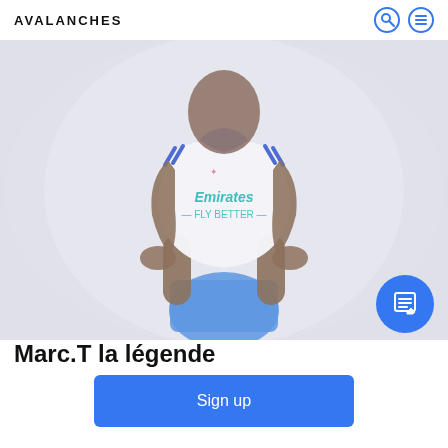AVALANCHES
[Figure (photo): A person wearing a white Real Madrid Emirates jersey with blue shorts, standing with hands at sides, photo is slightly blurred, light grey background]
Marc.T la légende
Sign up